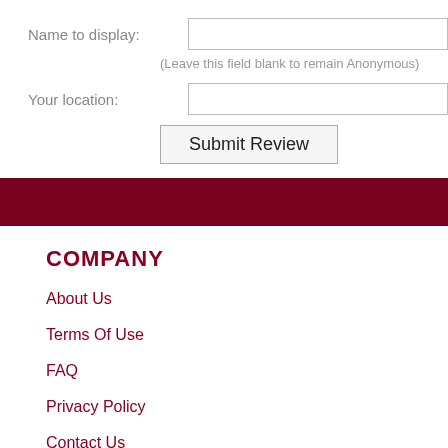Name to display:
(Leave this field blank to remain Anonymous)
Your location:
Submit Review
COMPANY
About Us
Terms Of Use
FAQ
Privacy Policy
Contact Us
Return Policy